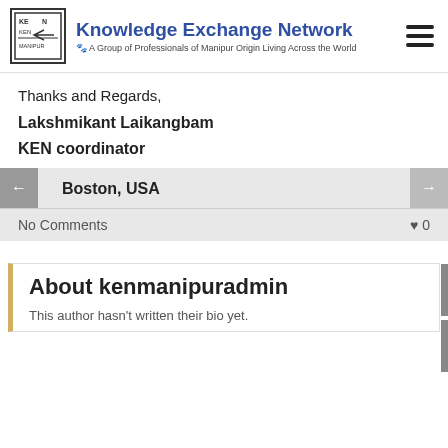Knowledge Exchange Network — A Group of Professionals of Manipur Origin Living Across the World
Thanks and Regards,
Lakshmikant Laikangbam
KEN coordinator
Boston, USA
No Comments   ♥ 0
About kenmanipuradmin
This author hasn't written their bio yet.